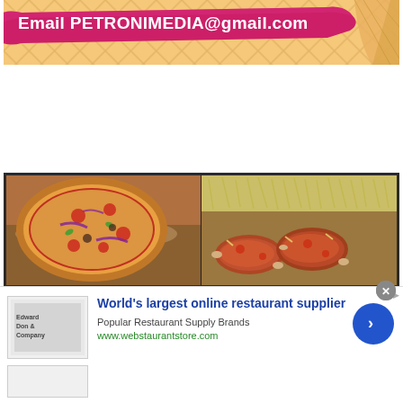[Figure (illustration): Advertisement banner with pink/magenta ribbon banner on a waffle cone textured background. Text reads 'Email PETRONIMEDIA@gmail.com' in white bold font on the ribbon.]
[Figure (photo): Side-by-side food photos: left half shows a pizza with tomato sauce, cheese, red onions, and various toppings on a round crust; right half shows saucy chicken wings with shredded cheese on top.]
[Figure (illustration): Online advertisement for webstaurantstore.com. Headline: 'World's largest online restaurant supplier'. Subtext: 'Popular Restaurant Supply Brands'. URL: www.webstaurantstore.com. Features a logo image (Edward Don & Company style), a blue circular arrow button, and an AdChoices icon.]